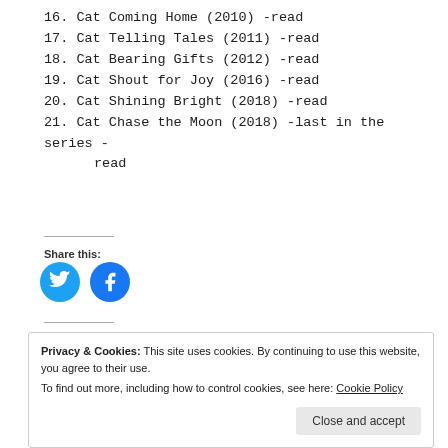16. Cat Coming Home (2010) -read
17. Cat Telling Tales (2011) -read
18. Cat Bearing Gifts (2012) -read
19. Cat Shout for Joy (2016) -read
20. Cat Shining Bright (2018) -read
21. Cat Chase the Moon (2018) -last in the series - read
Share this:
[Figure (logo): Twitter bird icon in blue circle]
[Figure (logo): Facebook f icon in blue circle]
Privacy & Cookies: This site uses cookies. By continuing to use this website, you agree to their use. To find out more, including how to control cookies, see here: Cookie Policy
Close and accept